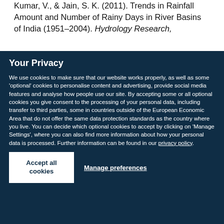Kumar, V., & Jain, S. K. (2011). Trends in Rainfall Amount and Number of Rainy Days in River Basins of India (1951–2004). Hydrology Research,
Your Privacy
We use cookies to make sure that our website works properly, as well as some 'optional' cookies to personalise content and advertising, provide social media features and analyse how people use our site. By accepting some or all optional cookies you give consent to the processing of your personal data, including transfer to third parties, some in countries outside of the European Economic Area that do not offer the same data protection standards as the country where you live. You can decide which optional cookies to accept by clicking on 'Manage Settings', where you can also find more information about how your personal data is processed. Further information can be found in our privacy policy.
Accept all cookies
Manage preferences